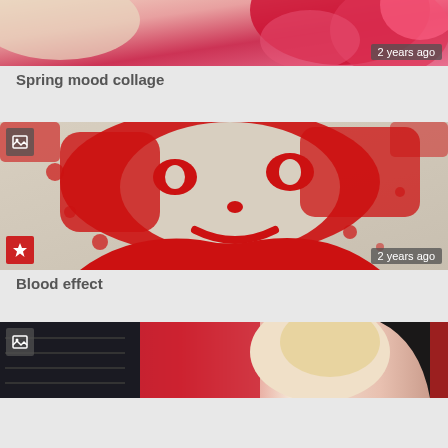[Figure (photo): Cropped image of a woman with blonde hair near red flowers/ribbons, timestamped '2 years ago']
Spring mood collage
[Figure (illustration): Red and white artistic portrait/stencil effect of a woman's face, with image gallery icon and star badge, timestamped '2 years ago']
Blood effect
[Figure (photo): Dark image of a woman in red outfit with blonde hair, image gallery icon visible at top left]